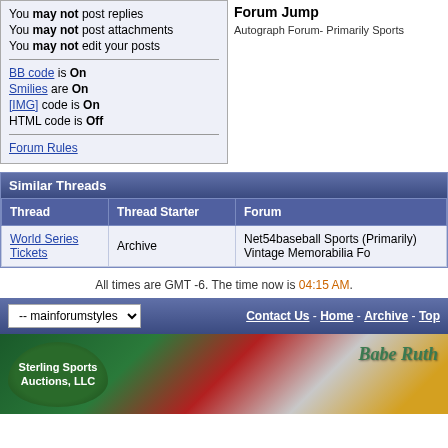You may not post replies
You may not post attachments
You may not edit your posts
BB code is On
Smilies are On
[IMG] code is On
HTML code is Off
Forum Rules
Forum Jump
Autograph Forum- Primarily Sports
Similar Threads
| Thread | Thread Starter | Forum |
| --- | --- | --- |
| World Series Tickets | Archive | Net54baseball Sports (Primarily) Vintage Memorabilia Fo |
All times are GMT -6. The time now is 04:15 AM.
-- mainforumstyles   Contact Us - Home - Archive - Top
[Figure (photo): Sterling Sports Auctions, LLC banner with vintage sports memorabilia including a Babe Ruth signed baseball]